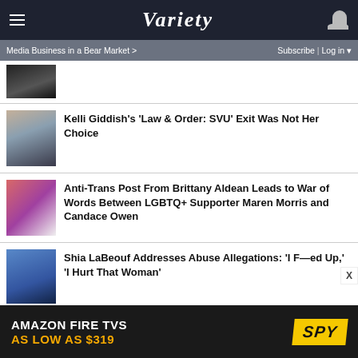Variety
Media Business in a Bear Market >  Subscribe | Log in
[Figure (photo): Partial image of a person in black clothing, top of page]
Kelli Giddish's 'Law & Order: SVU' Exit Was Not Her Choice
[Figure (photo): Kelli Giddish photo]
Anti-Trans Post From Brittany Aldean Leads to War of Words Between LGBTQ+ Supporter Maren Morris and Candace Owen
[Figure (photo): Two women photo collage]
Shia LaBeouf Addresses Abuse Allegations: 'I F—ed Up,' 'I Hurt That Woman'
[Figure (photo): Shia LaBeouf photo]
[Figure (infographic): Amazon Fire TVs advertisement: AS LOW AS $319, SPY logo]